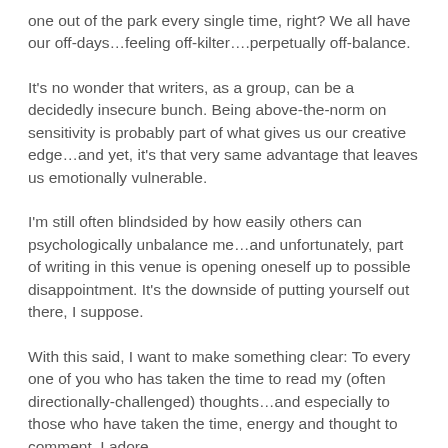one out of the park every single time, right? We all have our off-days…feeling off-kilter….perpetually off-balance.
It's no wonder that writers, as a group, can be a decidedly insecure bunch. Being above-the-norm on sensitivity is probably part of what gives us our creative edge…and yet, it's that very same advantage that leaves us emotionally vulnerable.
I'm still often blindsided by how easily others can psychologically unbalance me…and unfortunately, part of writing in this venue is opening oneself up to possible disappointment. It's the downside of putting yourself out there, I suppose.
With this said, I want to make something clear: To every one of you who has taken the time to read my (often directionally-challenged) thoughts…and especially to those who have taken the time, energy and thought to comment. I adore